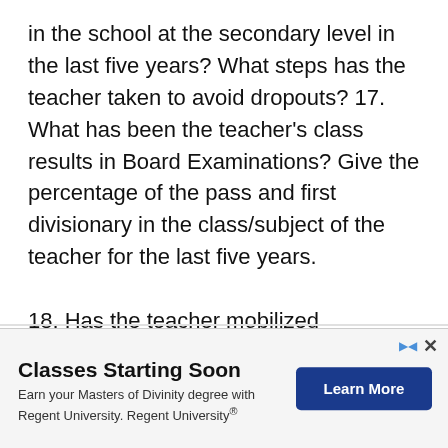in the school at the secondary level in the last five years? What steps has the teacher taken to avoid dropouts? 17. What has been the teacher's class results in Board Examinations? Give the percentage of the pass and first divisionary in the class/subject of the teacher for the last five years.
18. Has the teacher mobilized quantifiable community resources for the school...
[Figure (other): Advertisement banner: 'Classes Starting Soon' — Earn your Masters of Divinity degree with Regent University. Regent University®. With a 'Learn More' button.]